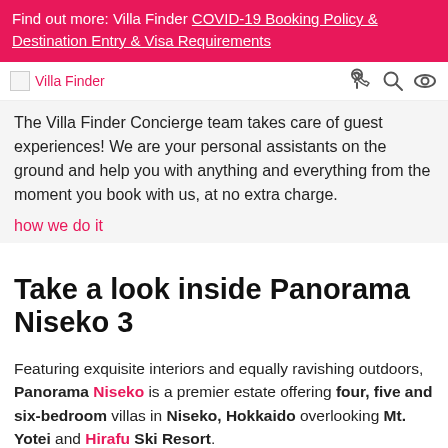Find out more: Villa Finder COVID-19 Booking Policy & Destination Entry & Visa Requirements
[Figure (logo): Villa Finder logo and navigation icons (phone, search, profile)]
The Villa Finder Concierge team takes care of guest experiences! We are your personal assistants on the ground and help you with anything and everything from the moment you book with us, at no extra charge.
how we do it
Take a look inside Panorama Niseko 3
Featuring exquisite interiors and equally ravishing outdoors, Panorama Niseko is a premier estate offering four, five and six-bedroom villas in Niseko, Hokkaido overlooking Mt. Yotei and Hirafu Ski Resort.